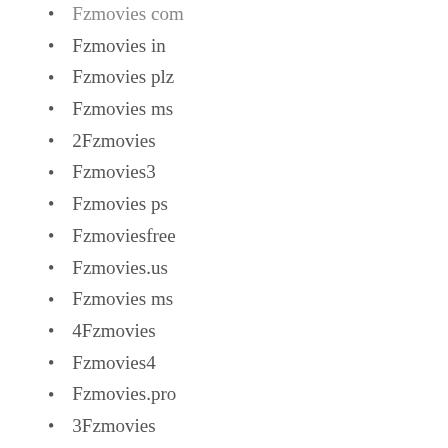Fzmovies com
Fzmovies in
Fzmovies plz
Fzmovies ms
2Fzmovies
Fzmovies3
Fzmovies ps
Fzmoviesfree
Fzmovies.us
Fzmovies ms
4Fzmovies
Fzmovies4
Fzmovies.pro
3Fzmovies
Fzmovies2
Fzmovies tc
Fzmovies.tc. tc
Fzmovies.pz
Fzmovies.sc